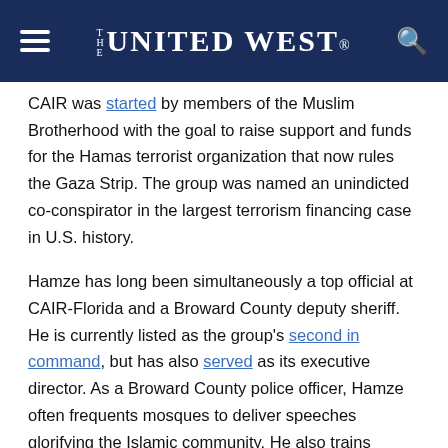THE UNITED WEST
CAIR was started by members of the Muslim Brotherhood with the goal to raise support and funds for the Hamas terrorist organization that now rules the Gaza Strip. The group was named an unindicted co-conspirator in the largest terrorism financing case in U.S. history.
Hamze has long been simultaneously a top official at CAIR-Florida and a Broward County deputy sheriff. He is currently listed as the group's second in command, but has also served as its executive director. As a Broward County police officer, Hamze often frequents mosques to deliver speeches glorifying the Islamic community. He also trains congregants on active shooter situations.
The current executive director of CAIR-Florida is Hassan Shibly, a bigoted preacher who is known to